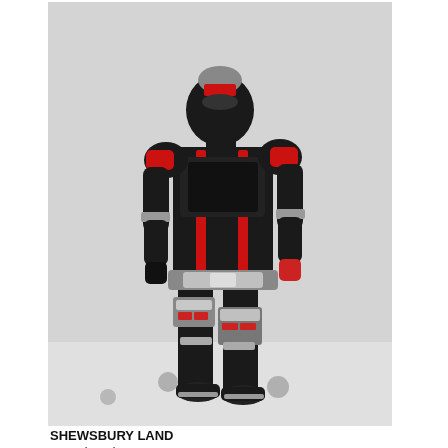[Figure (photo): Back view of a black and red armored action figure (Kamen Rider style) standing upright on a light surface. The figure has red trim accents, silver belt and joint details, and articulated limbs.]
SHEWSBURY LAND
www.shewsbury.com
[Figure (photo): Partial close-up of a black helmeted action figure head with red and orange/yellow antenna fin detail and golden compound eye visor.]